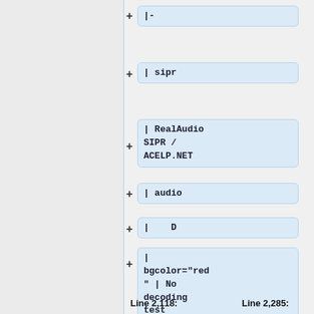[Figure (screenshot): Diff view showing code changes with plus signs and blue-highlighted code boxes containing wiki/table markup snippets: '|-', '| sipr', '| RealAudio SIPR / ACELP.NET', '| audio', '|    D', '| bgcolor="red" | No decoding test', "| ''n/a''", "| -", line numbers Line 2,118: and Line 2,285:]